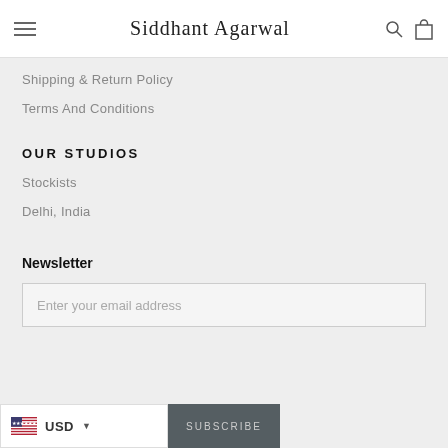Siddhant Agarwal
Shipping & Return Policy
Terms And Conditions
OUR STUDIOS
Stockists
Delhi, India
Newsletter
Enter your email address
USD
SUBSCRIBE